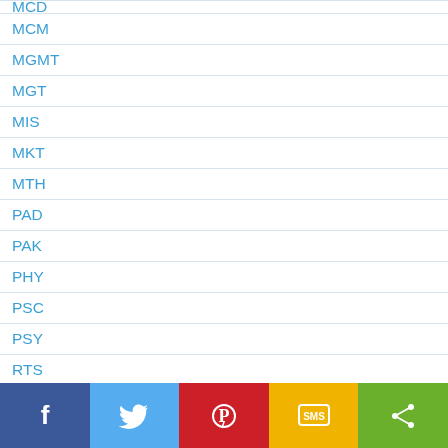MCD
MCM
MGMT
MGT
MIS
MKT
MTH
PAD
PAK
PHY
PSC
PSY
RTS
SOC
SPT
[Figure (infographic): Social sharing bar with Facebook, Twitter, Pinterest, SMS, and Share buttons]